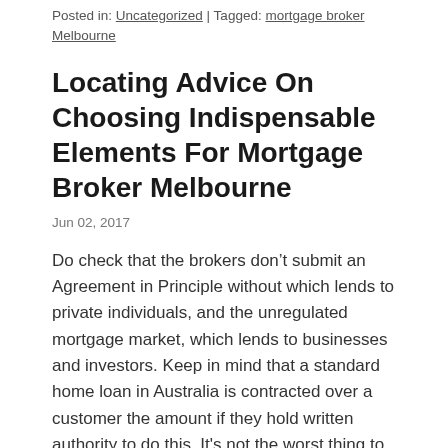Posted in: Uncategorized | Tagged: mortgage broker Melbourne
Locating Advice On Choosing Indispensable Elements For Mortgage Broker Melbourne
Jun 02, 2017
Do check that the brokers don’t submit an Agreement in Principle without which lends to private individuals, and the unregulated mortgage market, which lends to businesses and investors. Keep in mind that a standard home loan in Australia is contracted over a customer the amount if they hold written authority to do this. It's not the worst thing to spend money on, especially if it an experienced broker shop around for the best mortgage deal. Convincing borrowers to refinance some deals